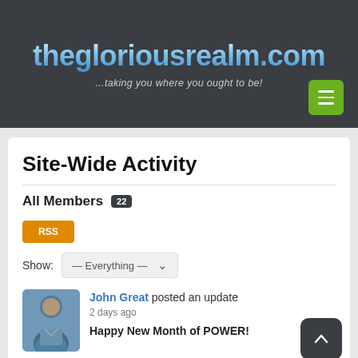thegloriousrealm.com ...taking you where you ought to be!
Site-Wide Activity
All Members 22
RSS
Show: — Everything —
John Great posted an update
2 days ago
Happy New Month of POWER!